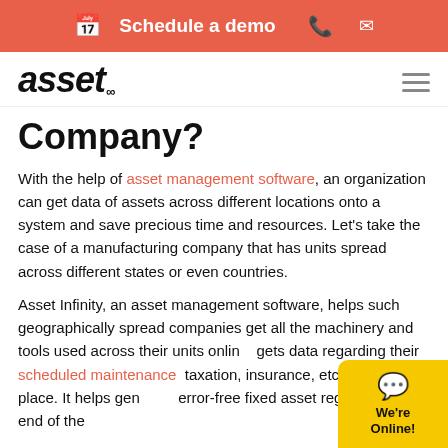Schedule a demo
[Figure (logo): asset infinity logo in bold italic with infinity symbol superscript]
Company?
With the help of asset management software, an organization can get data of assets across different locations onto a system and save precious time and resources. Let's take the case of a manufacturing company that has units spread across different states or even countries.
Asset Infinity, an asset management software, helps such geographically spread companies get all the machinery and tools used across their units online, gets data regarding their scheduled maintenance, taxation, insurance, etc. in one place. It helps generate error-free fixed asset registers at the end of the